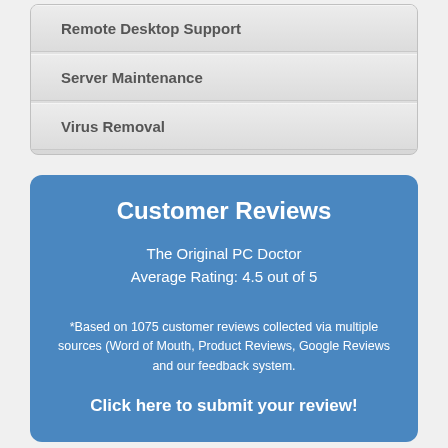Remote Desktop Support
Server Maintenance
Virus Removal
Customer Reviews
The Original PC Doctor
Average Rating: 4.5 out of 5
*Based on 1075 customer reviews collected via multiple sources (Word of Mouth, Product Reviews, Google Reviews and our feedback system.
Click here to submit your review!